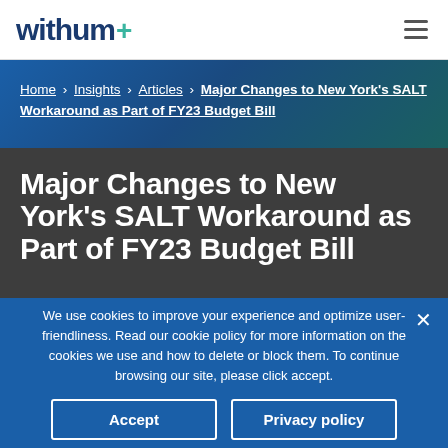withum+
Home › Insights › Articles › Major Changes to New York's SALT Workaround as Part of FY23 Budget Bill
Major Changes to New York's SALT Workaround as Part of FY23 Budget Bill
We use cookies to improve your experience and optimize user-friendliness. Read our cookie policy for more information on the cookies we use and how to delete or block them. To continue browsing our site, please click accept.